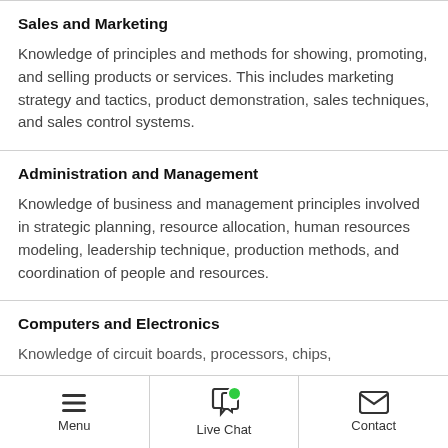Sales and Marketing
Knowledge of principles and methods for showing, promoting, and selling products or services. This includes marketing strategy and tactics, product demonstration, sales techniques, and sales control systems.
Administration and Management
Knowledge of business and management principles involved in strategic planning, resource allocation, human resources modeling, leadership technique, production methods, and coordination of people and resources.
Computers and Electronics
Knowledge of circuit boards, processors, chips...
Menu  Live Chat  Contact